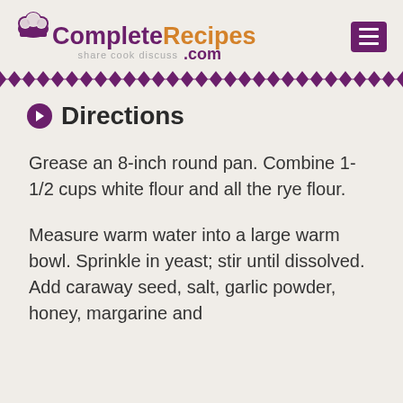CompleteRecipes.com — share cook discuss
Directions
Grease an 8-inch round pan. Combine 1-1/2 cups white flour and all the rye flour.
Measure warm water into a large warm bowl. Sprinkle in yeast; stir until dissolved. Add caraway seed, salt, garlic powder, honey, margarine and